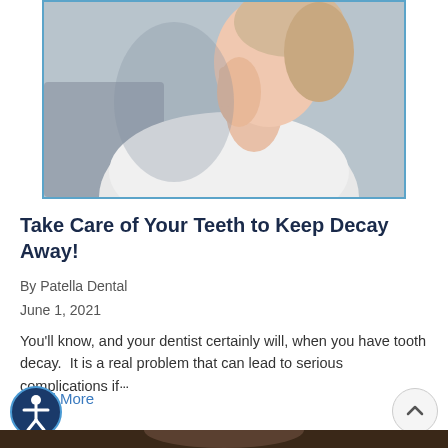[Figure (photo): Woman in white shirt touching her face/cheek, suggesting tooth pain or dental discomfort, with blurred grey background]
Take Care of Your Teeth to Keep Decay Away!
By Patella Dental
June 1, 2021
You'll know, and your dentist certainly will, when you have tooth decay.  It is a real problem that can lead to serious complications if…
Read More
[Figure (photo): Partial view of a person's face at the bottom of the page]